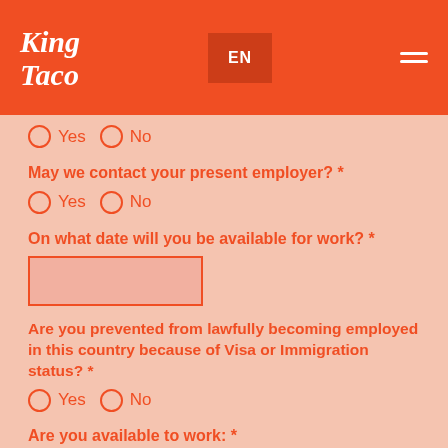King Taco — EN
Yes / No (radio — partial question cut off at top)
May we contact your present employer? *
Yes / No
On what date will you be available for work? *
Are you prevented from lawfully becoming employed in this country because of Visa or Immigration status? *
Yes / No
Are you available to work: *
Full Time / Part Time / Temporary